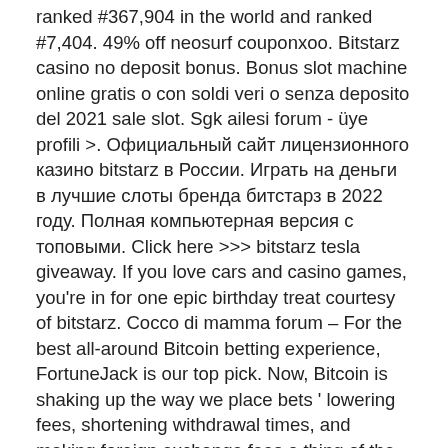ranked #367,904 in the world and ranked #7,404. 49% off neosurf couponxoo. Bitstarz casino no deposit bonus. Bonus slot machine online gratis o con soldi veri o senza deposito del 2021 sale slot. Sgk ailesi forum - üye profili &gt;. Официальный сайт лицензионного казино bitstarz в России. Играть на деньги в лучшие слоты бренда битстарз в 2022 году. Полная компьютерная версия с топовыми. Click here &gt;&gt;&gt; bitstarz tesla giveaway. If you love cars and casino games, you're in for one epic birthday treat courtesy of bitstarz. Cocco di mamma forum – For the best all-around Bitcoin betting experience, FortuneJack is our top pick. Now, Bitcoin is shaking up the way we place bets ' lowering fees, shortening withdrawal times, and making foreign exchange fees a thing of the past. Scroll down to view our list of the best Bitcoin sports betting sites of 2020. But there are so many bitcoin betting